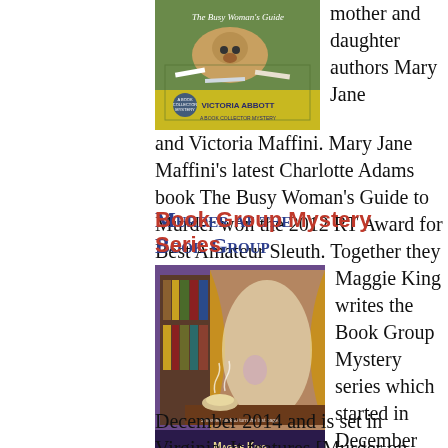[Figure (illustration): Book cover: Victoria Abbott, a cozy mystery novel showing a pug dog on a patterned rug with books scattered around. Yellow/green border at bottom with author name 'Victoria Abbott'.]
mother and daughter authors Mary Jane and Victoria Maffini. Mary Jane Maffini's latest Charlotte Adams book The Busy Woman's Guide to Murder won the 2012 RT Award for Best Amateur Sleuth. Together they write the Book...
Book Group Mystery Series
[Figure (illustration): Book cover: Murder at the Book Group by Maggie King. Shows a cozy interior with bookshelves, warm curtains, and a tea setting with steam rising. Purple/atmospheric tones.]
Maggie King writes the Book Group Mystery series which started in December 2014 and is set in Virginia. It features [Murder on...
December 2014 and is set in Virginia. It features [Murder on...